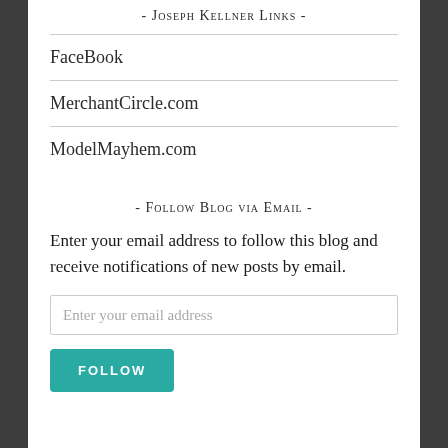- Joseph Kellner Links -
FaceBook
MerchantCircle.com
ModelMayhem.com
- Follow Blog via Email -
Enter your email address to follow this blog and receive notifications of new posts by email.
Enter your email address
FOLLOW